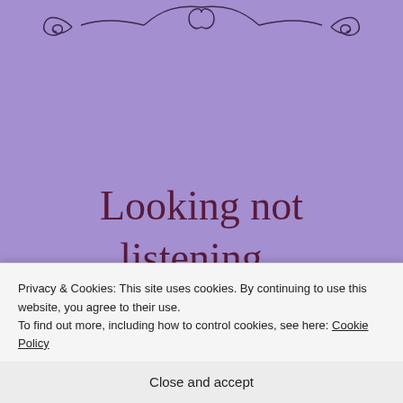[Figure (illustration): Decorative ornamental divider with scrollwork and flourishes at the top of the page on a purple background]
Looking not listening..
Privacy & Cookies: This site uses cookies. By continuing to use this website, you agree to their use. To find out more, including how to control cookies, see here: Cookie Policy
Close and accept